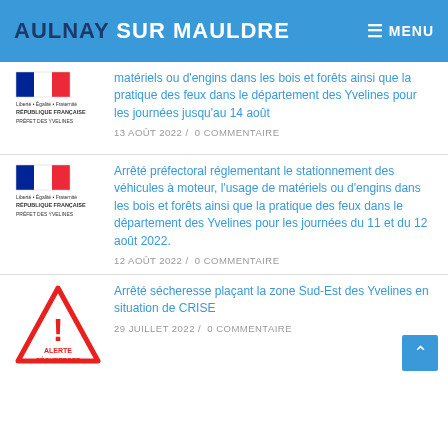AULNAY SUR MAULDRE  ≡ MENU
matériels ou d'engins dans les bois et forêts ainsi que la pratique des feux dans le département des Yvelines pour les journées jusqu'au 14 août
13 AOÛT 2022 /  0 COMMENTAIRE
Arrêté préfectoral réglementant le stationnement des véhicules à moteur, l'usage de matériels ou d'engins dans les bois et forêts ainsi que la pratique des feux dans le département des Yvelines pour les journées du 11 et du 12 août 2022.
12 AOÛT 2022 /  0 COMMENTAIRE
Arrêté sécheresse plaçant la zone Sud-Est des Yvelines en situation de CRISE
29 JUILLET 2022 /  0 COMMENTAIRE